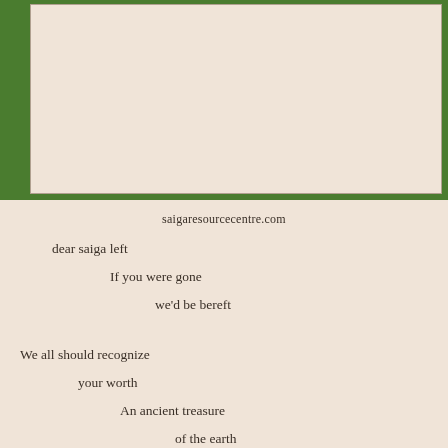[Figure (other): A large image placeholder box at the top of the page with a light beige/cream background]
saigaresourcecentre.com
dear saiga left

    If you were gone

        we'd be bereft


We all should recognize

    your worth

        An ancient treasure

            of the earth